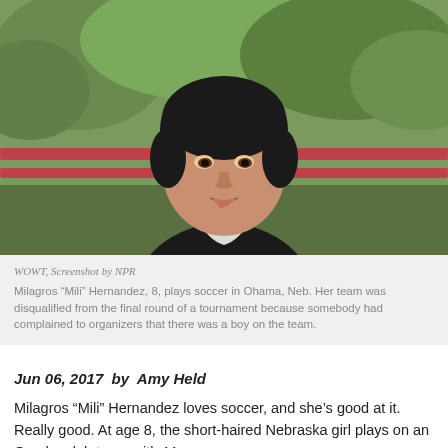[Figure (photo): A young dark-haired boy (Milagros 'Mili' Hernandez) being interviewed outdoors, with green trees and a red railing visible in the background. The child is wearing a dark jacket with a white collar.]
WOWT, Screenshot by NPR

Milagros "Mili" Hernandez, 8, plays soccer in Ohama, Neb. Her team was disqualified from the final round of a tournament because somebody had complained to organizers that there was a boy on the team.
Jun 06, 2017  by  Amy Held
Milagros "Mili" Hernandez loves soccer, and she's good at it. Really good. At age 8, the short-haired Nebraska girl plays on an Omaha club team with 11-